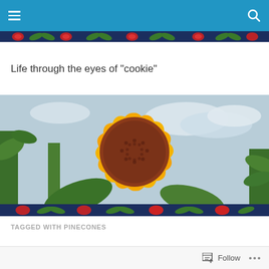Navigation bar with menu and search icons
[Figure (illustration): Decorative floral banner strip with dark navy background, red flowers and green leaves pattern]
Life through the eyes of "cookie"
[Figure (photo): Close-up photograph of a large orange sunflower with reddish-brown center against a cloudy sky background, with green leaves and another sunflower bud visible. A decorative floral strip with navy background appears at the bottom of the photo.]
TAGGED WITH PINECONES
Follow ...